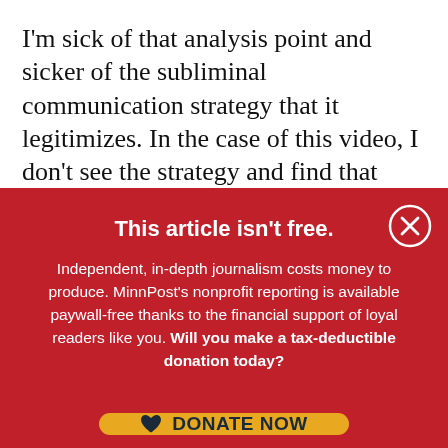I'm sick of that analysis point and sicker of the subliminal communication strategy that it legitimizes. In the case of this video, I don't see the strategy and find that about 80 percent of the moments are at least slightly endearing.
This article isn't free.
Independent, in-depth journalism costs money to produce. MinnPost's nonprofit reporting is available paywall-free thanks to the financial support of loyal readers like you. Will you make a tax-deductible donation today?
[Figure (other): Yellow rounded-rectangle button with heart icon and bold text reading DONATE NOW]